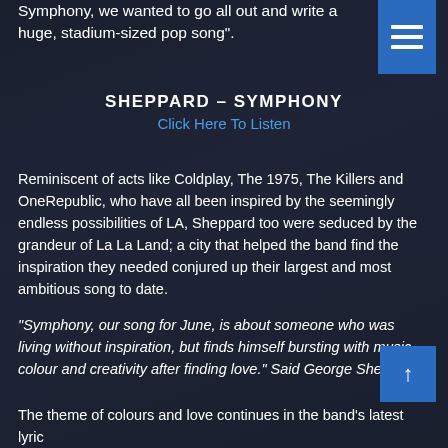Symphony, we wanted to go all out and write a huge, stadium-sized pop song".
SHEPPARD – SYMPHONY
Click Here To Listen
Reminiscent of acts like Coldplay, The 1975, The Killers and OneRepublic, who have all been inspired by the seemingly endless possibilities of LA, Sheppard too were seduced by the grandeur of La La Land; a city that helped the band find the inspiration they needed conjured up their largest and most ambitious song to date.
“Symphony, our song for June, is about someone who was living without inspiration, but finds himself bursting with music, colour and creativity after finding love.” Said George Sheppard
The theme of colours and love continues in the band’s latest lyric